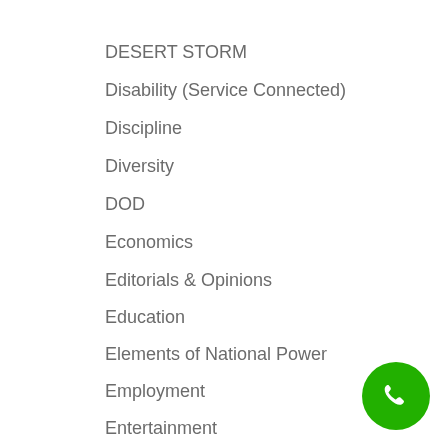DESERT STORM
Disability (Service Connected)
Discipline
Diversity
DOD
Economics
Editorials & Opinions
Education
Elements of National Power
Employment
Entertainment
Entrepreneur
Equipment/Gear
European Union
[Figure (illustration): Green circular phone/call button icon in the bottom-right corner]